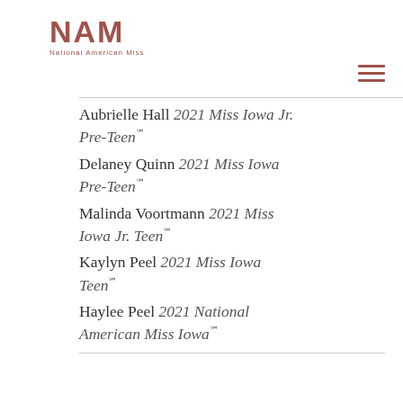NAM National American Miss
Aubrielle Hall 2021 Miss Iowa Jr. Pre-Teen℠
Delaney Quinn 2021 Miss Iowa Pre-Teen℠
Malinda Voortmann 2021 Miss Iowa Jr. Teen℠
Kaylyn Peel 2021 Miss Iowa Teen℠
Haylee Peel 2021 National American Miss Iowa℠